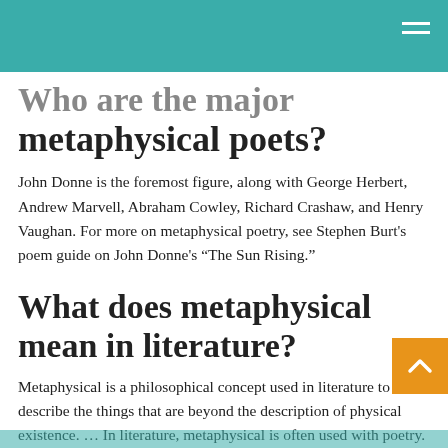Who are the major metaphysical poets?
John Donne is the foremost figure, along with George Herbert, Andrew Marvell, Abraham Cowley, Richard Crashaw, and Henry Vaughan. For more on metaphysical poetry, see Stephen Burt's poem guide on John Donne's “The Sun Rising.”
What does metaphysical mean in literature?
Metaphysical is a philosophical concept used in literature to describe the things that are beyond the description of physical existence. … In literature, metaphysical is often used with poetry. It is a typ poetry written during the seventeenth century.